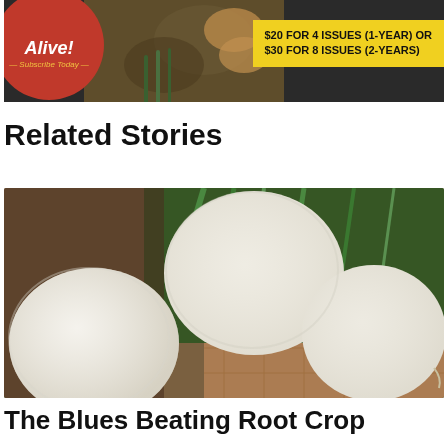[Figure (photo): Magazine advertisement banner showing 'Alive! — Subscribe Today —' with a red circle logo, food photography in background, and a yellow price box reading '$20 FOR 4 ISSUES (1-YEAR) OR $30 FOR 8 ISSUES (2-YEARS)']
Related Stories
[Figure (photo): Close-up photograph of white turnips with green stems on a tiled surface]
The Blues Beating Root Crop